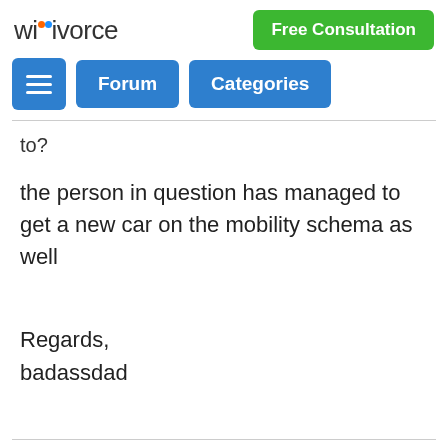wikivorce | Free Consultation
to?
the person in question has managed to get a new car on the mobility schema as well
Regards,
badassdad
Reply from rubytuesday  02 Jun 19